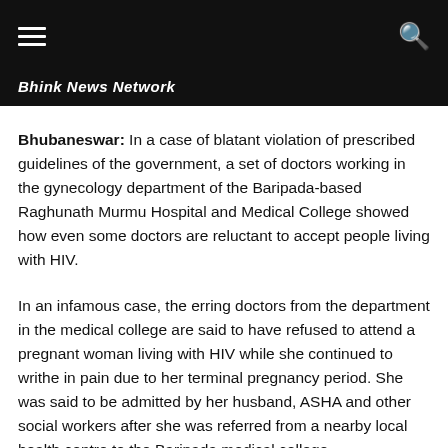Bhink News Network
Bhubaneswar: In a case of blatant violation of prescribed guidelines of the government, a set of doctors working in the gynecology department of the Baripada-based Raghunath Murmu Hospital and Medical College showed how even some doctors are reluctant to accept people living with HIV.
In an infamous case, the erring doctors from the department in the medical college are said to have refused to attend a pregnant woman living with HIV while she continued to writhe in pain due to her terminal pregnancy period. She was said to be admitted by her husband, ASHA and other social workers after she was referred from a nearby local health centre to the Baripada medical college.